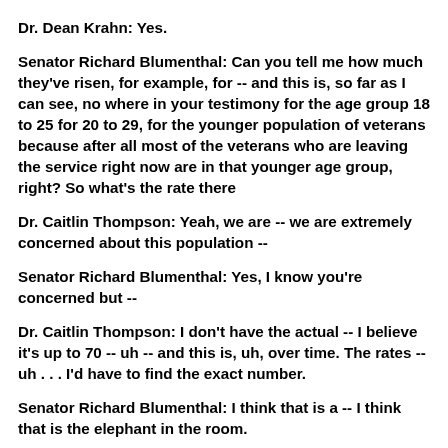Dr. Dean Krahn:  Yes.
Senator Richard Blumenthal:  Can you tell me how much they've risen, for example, for -- and this is, so far as I can see, no where in your testimony for the age group 18 to 25 for 20 to 29, for the younger population of veterans because after all most of the veterans who are leaving the service right now are in that younger age group, right?  So what's the rate there
Dr. Caitlin Thompson:  Yeah, we are -- we are extremely concerned about this population --
Senator Richard Blumenthal:  Yes, I know you're concerned but --
Dr. Caitlin Thompson:  I don't have the actual -- I believe it's up to 70 -- uh -- and this is, uh, over time.  The rates -- uh . . . I'd have to find the exact number.
Senator Richard Blumenthal:  I think that is a -- I think that is the elephant in the room.